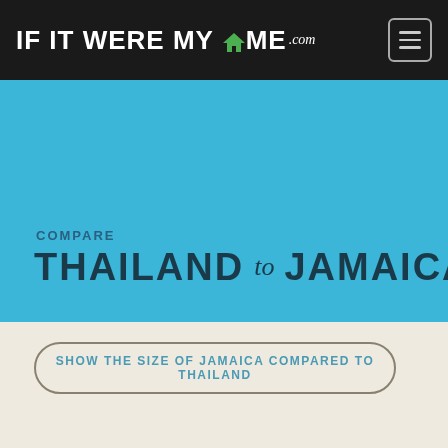IF IT WERE MY HOME.com
COMPARE
THAILAND to JAMAICA
SHOW THE SIZE OF JAMAICA COMPARED TO THAILAND